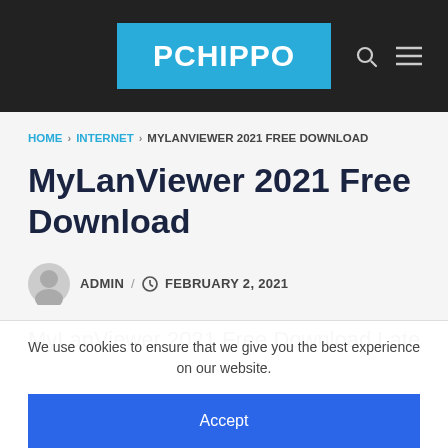PCHIPPO
HOME › INTERNET › MYLANVIEWER 2021 FREE DOWNLOAD
MyLanViewer 2021 Free Download
ADMIN / FEBRUARY 2, 2021
MyLanViewer 2021 Free Download Latest
We use cookies to ensure that we give you the best experience on our website.
Accept